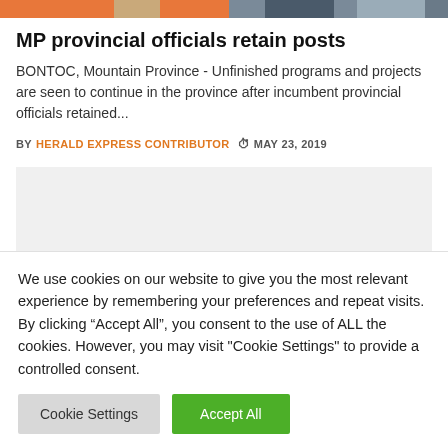[Figure (photo): Colorful header image strip with orange, tan, gray, and dark blue segments]
MP provincial officials retain posts
BONTOC, Mountain Province - Unfinished programs and projects are seen to continue in the province after incumbent provincial officials retained...
BY HERALD EXPRESS CONTRIBUTOR  MAY 23, 2019
[Figure (other): Gray advertisement placeholder block]
We use cookies on our website to give you the most relevant experience by remembering your preferences and repeat visits. By clicking "Accept All", you consent to the use of ALL the cookies. However, you may visit "Cookie Settings" to provide a controlled consent.